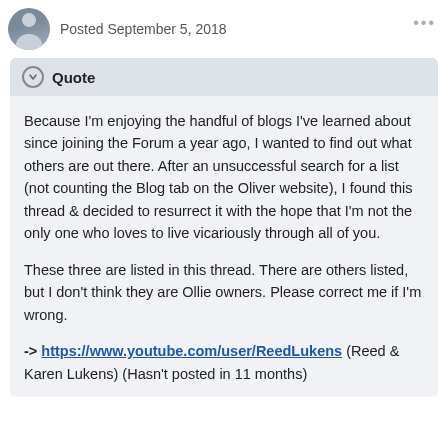Posted September 5, 2018
Quote
Because I'm enjoying the handful of blogs I've learned about since joining the Forum a year ago, I wanted to find out what others are out there. After an unsuccessful search for a list (not counting the Blog tab on the Oliver website), I found this thread & decided to resurrect it with the hope that I'm not the only one who loves to live vicariously through all of you.
These three are listed in this thread. There are others listed, but I don't think they are Ollie owners. Please correct me if I'm wrong.
-> https://www.youtube.com/user/ReedLukens (Reed & Karen Lukens) (Hasn't posted in 11 months)